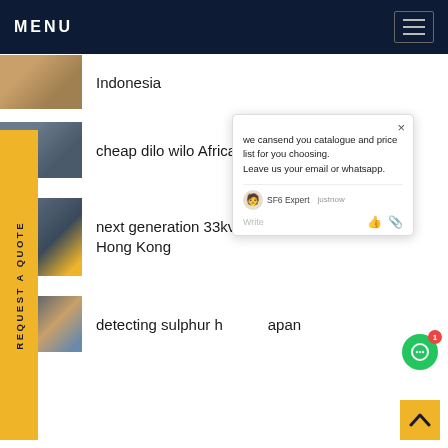MENU
Indonesia
cheap dilo wilo Africa
next generation 33kv sf6 circuit breaker Hong Kong
detecting sulphur hexafluoride Japan
we cansend you catalogue and price list for you choosing. Leave us your email or whatsapp.
SF6 Expert   justnow
Write
REQUEST A QUOTE